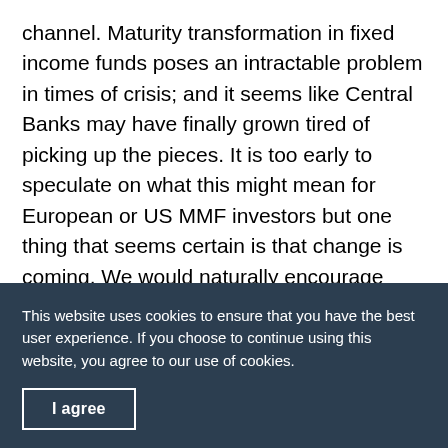channel. Maturity transformation in fixed income funds poses an intractable problem in times of crisis; and it seems like Central Banks may have finally grown tired of picking up the pieces. It is too early to speculate on what this might mean for European or US MMF investors but one thing that seems certain is that change is coming. We would naturally encourage clients to try to get ahead of the prospective changes and evaluate alternative options to minimise risk and maximise return on their
This website uses cookies to ensure that you have the best user experience. If you choose to continue using this website, you agree to our use of cookies.
I agree